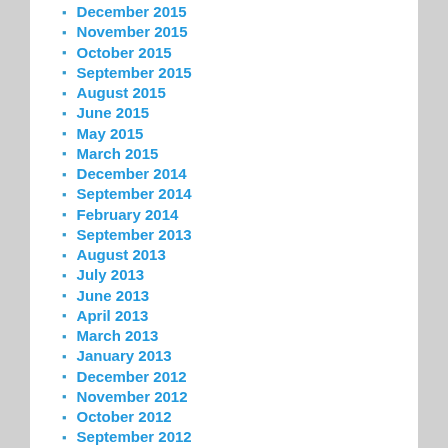December 2015
November 2015
October 2015
September 2015
August 2015
June 2015
May 2015
March 2015
December 2014
September 2014
February 2014
September 2013
August 2013
July 2013
June 2013
April 2013
March 2013
January 2013
December 2012
November 2012
October 2012
September 2012